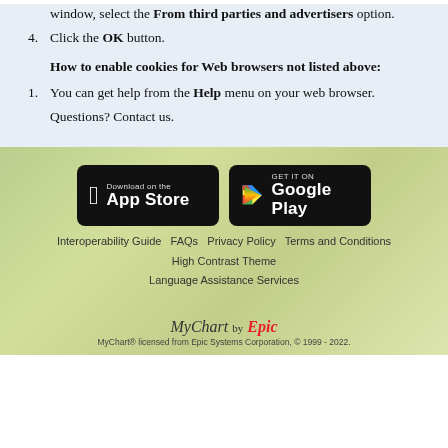window, select the From third parties and advertisers option.
4. Click the OK button.
How to enable cookies for Web browsers not listed above:
1. You can get help from the Help menu on your web browser.
Questions? Contact us.
[Figure (other): Download on the App Store and Get it on Google Play buttons over a leafy green background]
Interoperability Guide  FAQs  Privacy Policy  Terms and Conditions  High Contrast Theme  Language Assistance Services
MyChart by Epic. MyChart® licensed from Epic Systems Corporation, © 1999 - 2022.